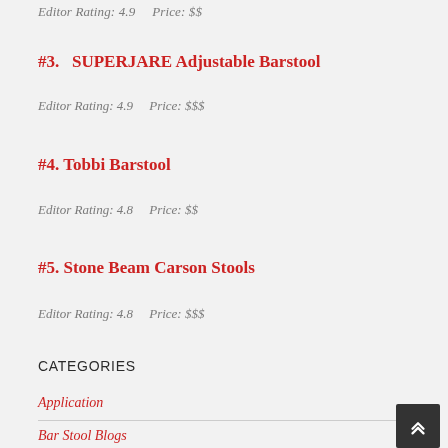Editor Rating: 4.9    Price: $$
#3.  SUPERJARE Adjustable Barstool
Editor Rating: 4.9    Price: $$$
#4. Tobbi Barstool
Editor Rating: 4.8    Price: $$
#5. Stone Beam Carson Stools
Editor Rating: 4.8    Price: $$$
CATEGORIES
Application
Bar Stool Blogs